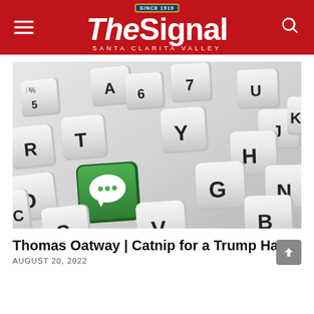The Signal — Santa Clarita Valley
[Figure (photo): Close-up photo of a white laptop keyboard with letter keys (R, T, Y, U, J, K, G, H, N, D, V, B, C) visible. One key is bright green with a white speech bubble / message icon on it, replacing what would be the F key area.]
Thomas Oatway | Catnip for a Trump Hater
AUGUST 20, 2022